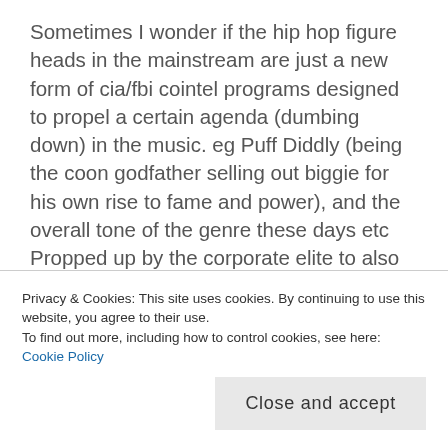Sometimes I wonder if the hip hop figure heads in the mainstream are just a new form of cia/fbi cointel programs designed to propel a certain agenda (dumbing down) in the music. eg Puff Diddly (being the coon godfather selling out biggie for his own rise to fame and power), and the overall tone of the genre these days etc Propped up by the corporate elite to also maintain a level of retardation to the unconcious listener…
As they can control the narrative of what is deemed to be popular and what hits TV or the airwaves on radio etc. working with the best beat producers (doing
resulting in fame hungry artists like Desiinger who
Privacy & Cookies: This site uses cookies. By continuing to use this website, you agree to their use.
To find out more, including how to control cookies, see here: Cookie Policy
Close and accept